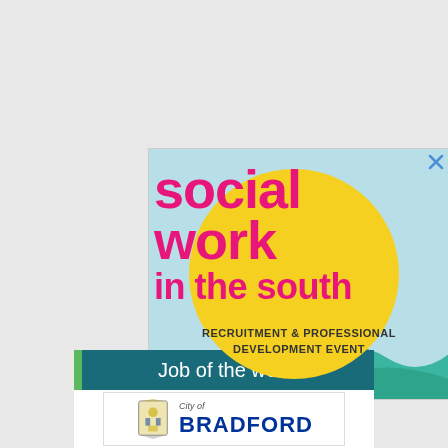[Figure (illustration): Social Work in the South recruitment and professional development event advertisement. Features bold pink text 'social work in the south' on a light blue background with a large yellow sun circle. Bottom text reads 'RECRUITMENT & PROFESSIONAL DEVELOPMENT EVENT'. A close (X) button appears in the top right corner.]
Job of the week
[Figure (logo): City of Bradford Metropolitan District Council logo showing a coat of arms and the text 'City of BRADFORD']